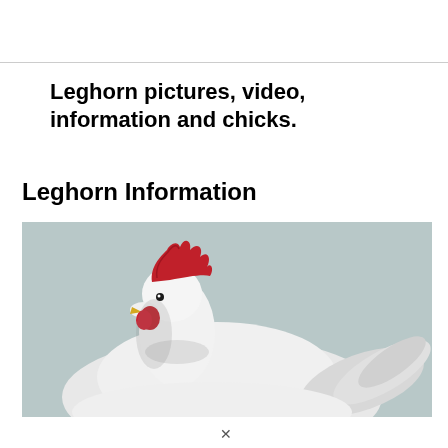Leghorn pictures, video, information and chicks.
Leghorn Information
[Figure (photo): A white Leghorn rooster with a large red comb, facing left, with white feathers and a light blue-gray background.]